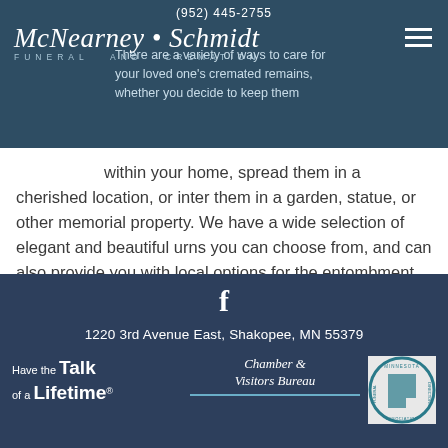(952) 445-2755
McNearney • Schmidt FUNERAL AND CREMATION SERVICES
There are a variety of ways to care for your loved one's cremated remains, whether you decide to keep them within your home, spread them in a cherished location, or inter them in a garden, statue, or other memorial property. We have a wide selection of elegant and beautiful urns you can choose from, and can also provide you with local options for the entombment of your cremation urn. Cremation niches are available within many local mausoleums, as well as in area cremation gardens and inurnment plots.
1220 3rd Avenue East, Shakopee, MN 55379
Have the Talk of a Lifetime®
Chamber & Visitors Bureau Shakopee, Minn.
[Figure (logo): Minnesota Funeral Directors Association circular logo]